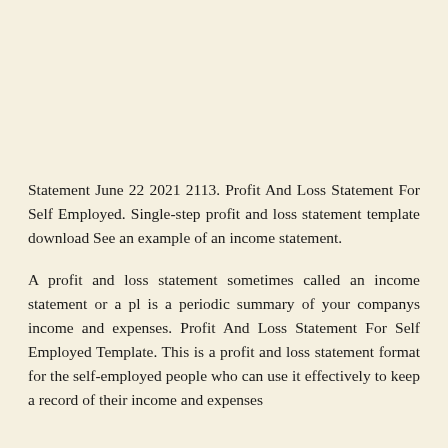Statement June 22 2021 2113. Profit And Loss Statement For Self Employed. Single-step profit and loss statement template download See an example of an income statement.
A profit and loss statement sometimes called an income statement or a pl is a periodic summary of your companys income and expenses. Profit And Loss Statement For Self Employed Template. This is a profit and loss statement format for the self-employed people who can use it effectively to keep a record of their income and expenses and also for…